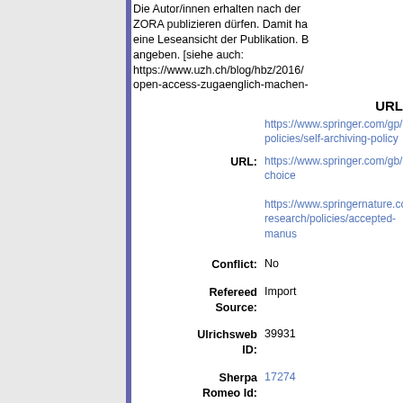Die Autor/innen erhalten nach der ZORA publizieren dürfen. Damit ha eine Leseansicht der Publikation. B angeben. [siehe auch: https://www.uzh.ch/blog/hbz/2016/ open-access-zugaenglich-machen-
URL
https://www.springer.com/gp/open-policies/self-archiving-policy
URL: https://www.springer.com/gb/open-choice
https://www.springernature.com/gp/research/policies/accepted-manus
Conflict: No
Refereed Source: Import
Ulrichsweb ID: 39931
Sherpa Romeo Id: 17274
Divisions: Unspecified
| Fee | Currency | Date |
| --- | --- | --- |
| 2200 | EUR | 2017 |
Article Processing Charge(s):